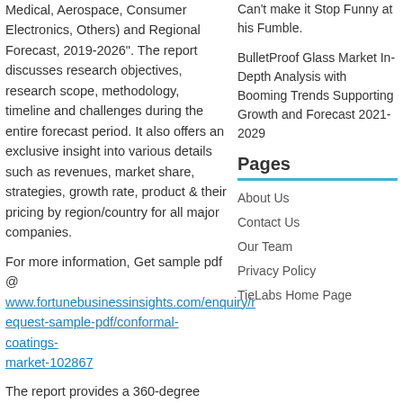Medical, Aerospace, Consumer Electronics, Others) and Regional Forecast, 2019-2026". The report discusses research objectives, research scope, methodology, timeline and challenges during the entire forecast period. It also offers an exclusive insight into various details such as revenues, market share, strategies, growth rate, product & their pricing by region/country for all major companies.
Can't make it Stop Funny at his Fumble.
BulletProof Glass Market In-Depth Analysis with Booming Trends Supporting Growth and Forecast 2021-2029
For more information, Get sample pdf @ www.fortunebusinessinsights.com/enquiry/request-sample-pdf/conformal-coatings-market-102867
Pages
About Us
Contact Us
Our Team
Privacy Policy
TieLabs Home Page
The report provides a 360-degree overview